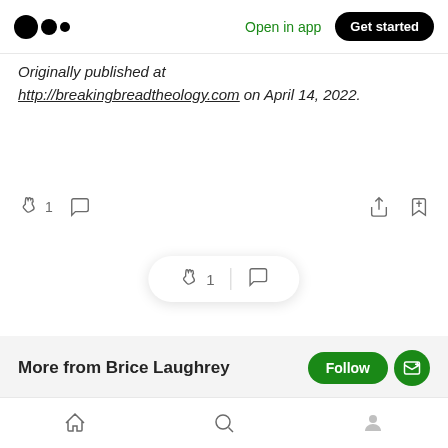Medium logo | Open in app | Get started
Originally published at http://breakingbreadtheology.com on April 14, 2022.
[Figure (infographic): Reaction bar with clap icon (1 clap), comment icon, share icon, and bookmark icon]
[Figure (infographic): Floating pill button with clap icon (1), divider, and comment icon]
More from Brice Laughrey
Owner of Breaking Bread Theology and co-founder of 1310
Bottom navigation: Home, Search, Profile